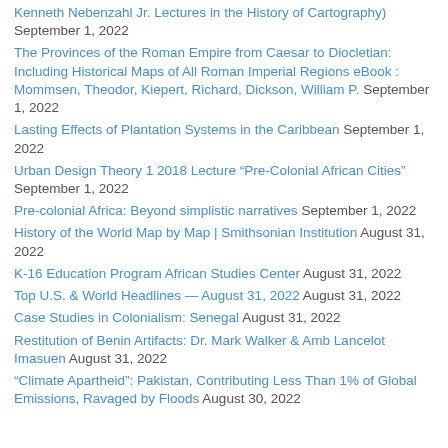Kenneth Nebenzahl Jr. Lectures in the History of Cartography) September 1, 2022
The Provinces of the Roman Empire from Caesar to Diocletian: Including Historical Maps of All Roman Imperial Regions eBook : Mommsen, Theodor, Kiepert, Richard, Dickson, William P. September 1, 2022
Lasting Effects of Plantation Systems in the Caribbean September 1, 2022
Urban Design Theory 1 2018 Lecture “Pre-Colonial African Cities” September 1, 2022
Pre-colonial Africa: Beyond simplistic narratives September 1, 2022
History of the World Map by Map | Smithsonian Institution August 31, 2022
K-16 Education Program African Studies Center August 31, 2022
Top U.S. & World Headlines — August 31, 2022 August 31, 2022
Case Studies in Colonialism: Senegal August 31, 2022
Restitution of Benin Artifacts: Dr. Mark Walker & Amb Lancelot Imasuen August 31, 2022
“Climate Apartheid”: Pakistan, Contributing Less Than 1% of Global Emissions, Ravaged by Floods August 30, 2022